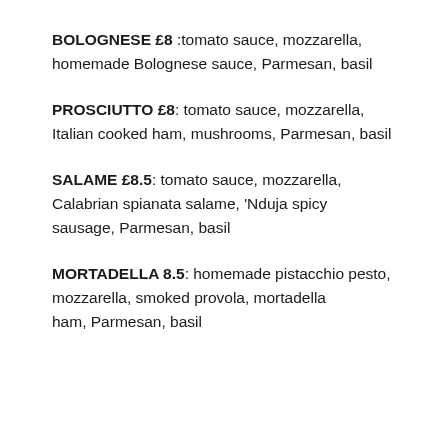BOLOGNESE £8 :tomato sauce, mozzarella, homemade Bolognese sauce, Parmesan, basil
PROSCIUTTO £8: tomato sauce, mozzarella, Italian cooked ham, mushrooms, Parmesan, basil
SALAME £8.5: tomato sauce, mozzarella, Calabrian spianata salame, 'Nduja spicy sausage, Parmesan, basil
MORTADELLA 8.5: homemade pistacchio pesto, mozzarella, smoked provola, mortadella ham, Parmesan, basil